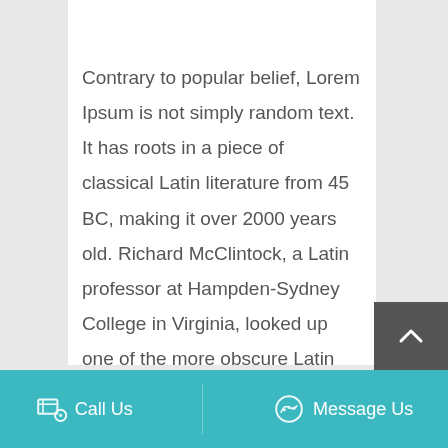Contrary to popular belief, Lorem Ipsum is not simply random text. It has roots in a piece of classical Latin literature from 45 BC, making it over 2000 years old. Richard McClintock, a Latin professor at Hampden-Sydney College in Virginia, looked up one of the more obscure Latin words, consectetur, from a Lorem Ipsum passage, and going through the cites of the word in
Call Us   Message Us